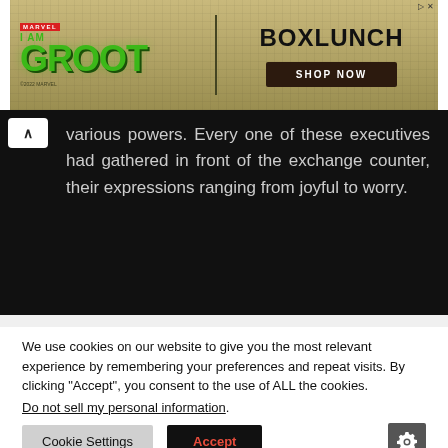[Figure (other): I Am Groot × BoxLunch advertisement banner with green Groot logo text, divider, and 'SHOP NOW' button]
various powers. Every one of these executives had gathered in front of the exchange counter, their expressions ranging from joyful to worry.
We use cookies on our website to give you the most relevant experience by remembering your preferences and repeat visits. By clicking "Accept", you consent to the use of ALL the cookies.
Do not sell my personal information.
Cookie Settings    Accept